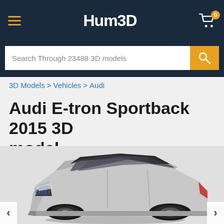Hum3D
Search Through 23488 3D models
3D Models > Vehicles > Audi
Audi E-tron Sportback 2015 3D model
[Figure (photo): 3D render of an Audi E-tron Sportback 2015 in silver/grey color, shown from a front three-quarter angle. The car has a sleek sportback body style with dark roof, large black wheels, and Audi logo on the front grille. Background is light grey.]